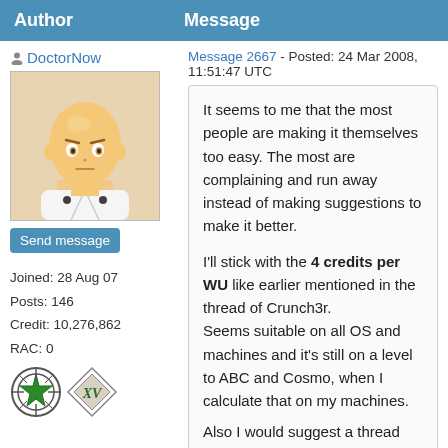| Author | Message |
| --- | --- |
| DoctorNow
Joined: 28 Aug 07
Posts: 146
Credit: 10,276,862
RAC: 0 | Message 2667 - Posted: 24 Mar 2008, 11:51:47 UTC

It seems to me that the most people are making it themselves too easy. The most are complaining and run away instead of making suggestions to make it better.

I'll stick with the 4 credits per WU like earlier mentioned in the thread of Crunch3r.
Seems suitable on all OS and machines and it's still on a level to ABC and Cosmo, when I calculate that on my machines.

Also I would suggest a thread with a poll. Listing some values and everyone should vote for the value which is suitable for him. |